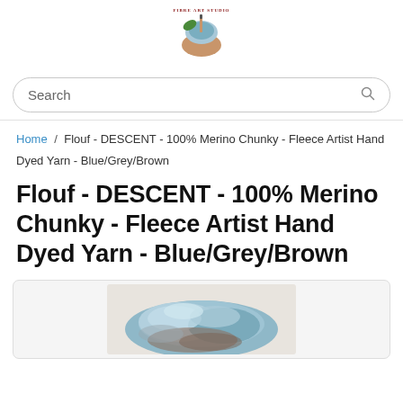[Figure (logo): Fibre Art Studio logo: a hand holding yarn with paintbrush, text 'FIBRE ART STUDIO' above]
Search
Home / Flouf - DESCENT - 100% Merino Chunky - Fleece Artist Hand Dyed Yarn - Blue/Grey/Brown
Flouf - DESCENT - 100% Merino Chunky - Fleece Artist Hand Dyed Yarn - Blue/Grey/Brown
[Figure (photo): Photo of chunky hand-dyed blue/grey/brown merino yarn]